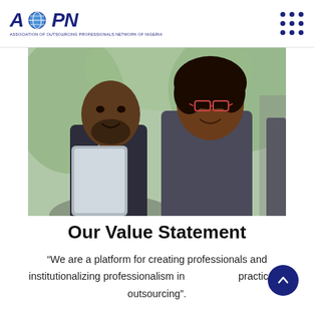AOPN - logo with navigation dots
[Figure (photo): Two business professionals, a man in a dark suit holding a tablet and a woman with glasses wearing a grey top, engaged in a conversation in an outdoor/blurred background setting.]
Our Value Statement
“We are a platform for creating professionals and institutionalizing professionalism in practice of outsourcing”.